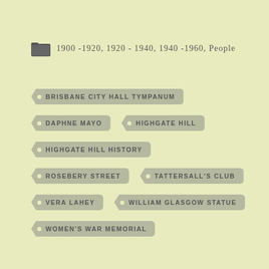1900 -1920, 1920 - 1940, 1940 -1960, People
BRISBANE CITY HALL TYMPANUM
DAPHNE MAYO
HIGHGATE HILL
HIGHGATE HILL HISTORY
ROSEBERY STREET
TATTERSALL'S CLUB
VERA LAHEY
WILLIAM GLASGOW STATUE
WOMEN'S WAR MEMORIAL